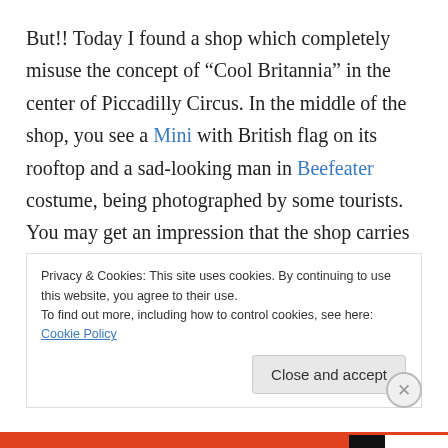But!! Today I found a shop which completely misuse the concept of “Cool Britannia” in the center of Piccadilly Circus. In the middle of the shop, you see a Mini with British flag on its rooftop and a sad-looking man in Beefeater costume, being photographed by some tourists. You may get an impression that the shop carries full of cool British brands and hip products, but in fact there is full of cheap trash made in China. It is sad to see some tourists were shopping around quite happily. There are not many decent souvenir shops in London, but lots of South
Privacy & Cookies: This site uses cookies. By continuing to use this website, you agree to their use.
To find out more, including how to control cookies, see here: Cookie Policy
Close and accept